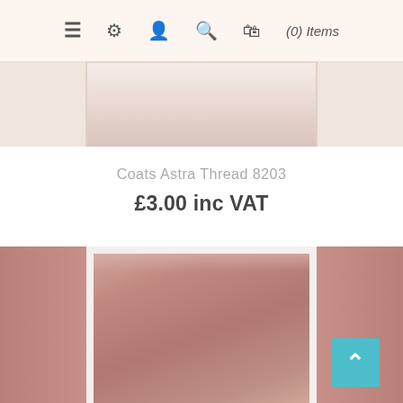≡ ⚙ 👤 🔍 🛍 (0) Items
[Figure (photo): Cropped top portion of a product image showing a light peach/cream colored spool of Coats Astra Thread 8203]
Coats Astra Thread 8203
£3.00 inc VAT
[Figure (photo): Lower portion of a product image showing a mauve/dusty rose colored spool of Coats Astra Thread 8203]